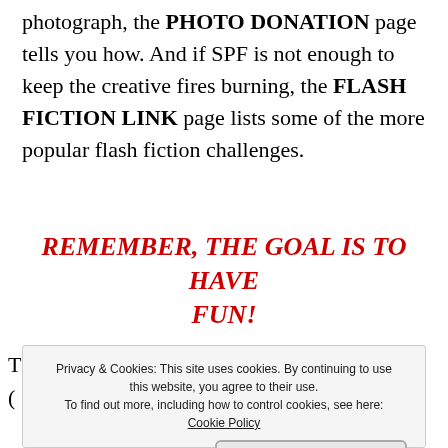photograph, the PHOTO DONATION page tells you how. And if SPF is not enough to keep the creative fires burning, the FLASH FICTION LINK page lists some of the more popular flash fiction challenges.
REMEMBER, THE GOAL IS TO HAVE FUN!
Privacy & Cookies: This site uses cookies. By continuing to use this website, you agree to their use. To find out more, including how to control cookies, see here: Cookie Policy
Close and accept